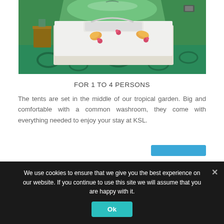[Figure (photo): Interior of a glamping tent showing a double bed with white linen, decorative flower petals, and a green tropical tent interior with patterned floor mat.]
FOR 1 TO 4 PERSONS
The tents are set in the middle of our tropical garden. Big and comfortable with a common washroom, they come with everything needed to enjoy your stay at KSL.
We use cookies to ensure that we give you the best experience on our website. If you continue to use this site we will assume that you are happy with it.